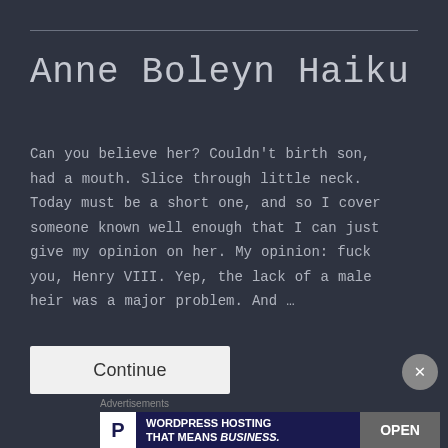Anne Boleyn Haiku
Can you believe her? Couldn't birth son, had a mouth. Slice through little neck. Today must be a short one, and so I cover someone known well enough that I can just give my opinion on her. My opinion: fuck you, Henry VIII. Yep, the lack of a male heir was a major problem. And …
Continue
Advertisements
WORDPRESS HOSTING THAT MEANS BUSINESS.